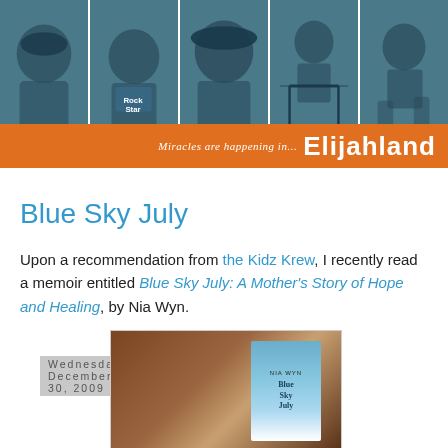[Figure (photo): Blog header banner with five teal-tinted photos of a child at various ages, with an orange bar below reading 'Miracles are happening in... Elijahland']
Wednesday, December 30, 2009
Blue Sky July
Upon a recommendation from the Kidz Krew, I recently read a memoir entitled Blue Sky July: A Mother's Story of Hope and Healing, by Nia Wyn.
[Figure (photo): Photo of the book 'Blue Sky July' by Nia Wyn lying on a surface, showing the book cover with blue sky imagery]